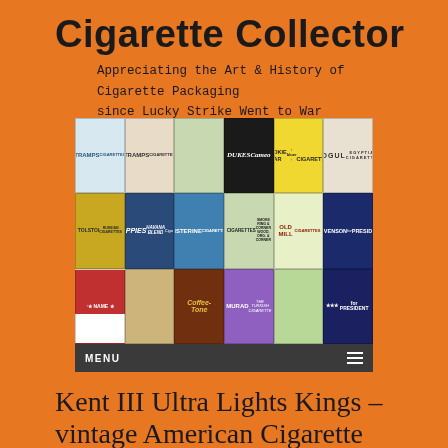Cigarette Collector
Appreciating the Art & History of Cigarette Packaging since Lucky Strike Went to War
[Figure (photo): Collage of vintage cigarette packs including Tramps, Cameo, Cookie Jar, Mogul, Tolstoi, Puppies Havana Blend, Listerine, Old Mill, Stevenson for President, Coffee-Tone, Murad cigarette packages, with a dark navigation bar showing MENU text and hamburger icon at the bottom.]
Kent III Ultra Lights Kings – vintage American Cigarette Pack